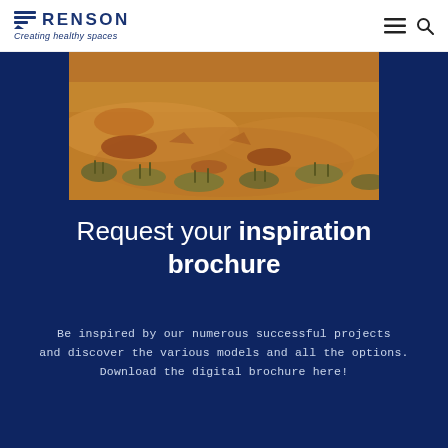RENSON Creating healthy spaces
[Figure (photo): Aerial or ground-level photo of a desert landscape with red sandy soil, dry grass tufts, and sparse arid vegetation under warm light.]
Request your inspiration brochure
Be inspired by our numerous successful projects and discover the various models and all the options. Download the digital brochure here!